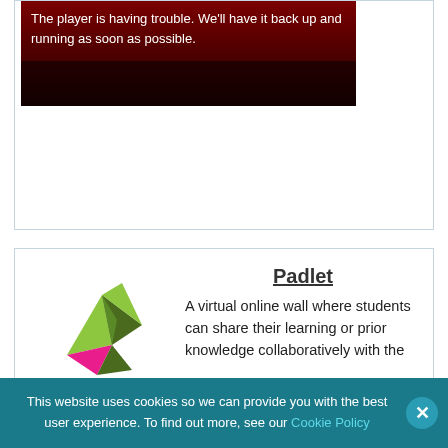[Figure (screenshot): Video player error screen with dark red background showing message: 'The player is having trouble. We'll have it back up and running as soon as possible.']
[Figure (logo): Padlet logo: origami bird in pink/green/dark colors above the word 'padlet' in dark grey]
Padlet
A virtual online wall where students can share their learning or prior knowledge collaboratively with the
This website uses cookies so we can provide you with the best user experience. To find out more, see our Cookie Policy